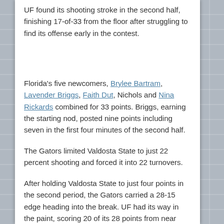UF found its shooting stroke in the second half, finishing 17-of-33 from the floor after struggling to find its offense early in the contest.
Florida's five newcomers, Brylee Bartram, Lavender Briggs, Faith Dut, Nichols and Nina Rickards combined for 33 points. Briggs, earning the starting nod, posted nine points including seven in the first four minutes of the second half.
The Gators limited Valdosta State to just 22 percent shooting and forced it into 22 turnovers.
After holding Valdosta State to just four points in the second period, the Gators carried a 28-15 edge heading into the break. UF had its way in the paint, scoring 20 of its 28 points from near distance. Smith paced all scorers with seven points.